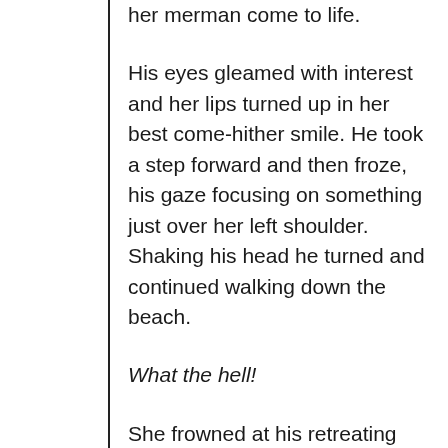her merman come to life.
His eyes gleamed with interest and her lips turned up in her best come-hither smile. He took a step forward and then froze, his gaze focusing on something just over her left shoulder. Shaking his head he turned and continued walking down the beach.
What the hell!
She frowned at his retreating back. Admittedly she was no super model but, she'd never had a problem with luring men her way.
A long shadow fell over her and it was her turn to freeze. Despite blocking out the sun, a heated scorch rippled down her body as the approaching shadow crept down her body. Her